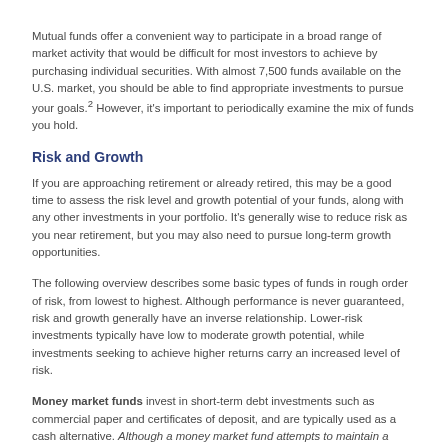Mutual funds offer a convenient way to participate in a broad range of market activity that would be difficult for most investors to achieve by purchasing individual securities. With almost 7,500 funds available on the U.S. market, you should be able to find appropriate investments to pursue your goals.2 However, it's important to periodically examine the mix of funds you hold.
Risk and Growth
If you are approaching retirement or already retired, this may be a good time to assess the risk level and growth potential of your funds, along with any other investments in your portfolio. It's generally wise to reduce risk as you near retirement, but you may also need to pursue long-term growth opportunities.
The following overview describes some basic types of funds in rough order of risk, from lowest to highest. Although performance is never guaranteed, risk and growth generally have an inverse relationship. Lower-risk investments typically have low to moderate growth potential, while investments seeking to achieve higher returns carry an increased level of risk.
Money market funds invest in short-term debt investments such as commercial paper and certificates of deposit, and are typically used as a cash alternative. Although a money market fund attempts to maintain a stable $1 share price, you can lose money by investing in such a fund. Money market funds are neither